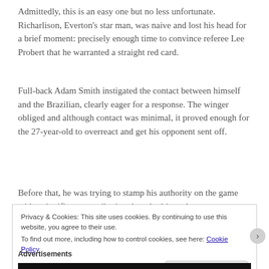Admittedly, this is an easy one but no less unfortunate. Richarlison, Everton's star man, was naive and lost his head for a brief moment: precisely enough time to convince referee Lee Probert that he warranted a straight red card.
Full-back Adam Smith instigated the contact between himself and the Brazilian, clearly eager for a response. The winger obliged and although contact was minimal, it proved enough for the 27-year-old to overreact and get his opponent sent off.
Before that, he was trying to stamp his authority on the game with a significant contribution though ultimately to no
Privacy & Cookies: This site uses cookies. By continuing to use this website, you agree to their use.
To find out more, including how to control cookies, see here: Cookie Policy
Close and accept
Advertisements